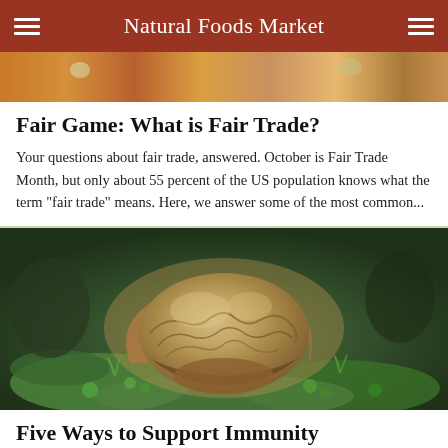Natural Foods Market
[Figure (photo): Partial strip of autumn foliage / berries photo at top of page]
Fair Game: What is Fair Trade?
Your questions about fair trade, answered. October is Fair Trade Month, but only about 55 percent of the US population knows what the term "fair trade" means. Here, we answer some of the most common...
[Figure (photo): Close-up photo of a large hen-of-the-woods (maitake) mushroom growing on green moss]
Five Ways to Support Immunity